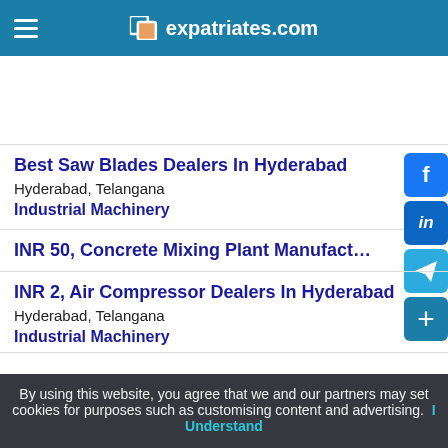expatriates.com
Best Saw Blades Dealers In Hyderabad
Hyderabad, Telangana
Industrial Machinery
INR 50, Concrete Mixing Plant Manufacturer - Househo
INR 2, Air Compressor Dealers In Hyderabad
Hyderabad, Telangana
Industrial Machinery
By using this website, you agree that we and our partners may set cookies for purposes such as customising content and advertising. I Understand